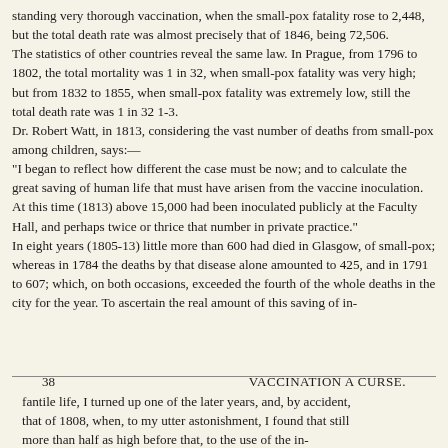standing very thorough vaccination, when the small-pox fatality rose to 2,448, but the total death rate was almost precisely that of 1846, being 72,506. The statistics of other countries reveal the same law. In Prague, from 1796 to 1802, the total mortality was 1 in 32, when small-pox fatality was very high; but from 1832 to 1855, when small-pox fatality was extremely low, still the total death rate was 1 in 32 1-3. Dr. Robert Watt, in 1813, considering the vast number of deaths from small-pox among children, says:— "I began to reflect how different the case must be now; and to calculate the great saving of human life that must have arisen from the vaccine inoculation. At this time (1813) above 15,000 had been inoculated publicly at the Faculty Hall, and perhaps twice or thrice that number in private practice." In eight years (1805-13) little more than 600 had died in Glasgow, of small-pox; whereas in 1784 the deaths by that disease alone amounted to 425, and in 1791 to 607; which, on both occasions, exceeded the fourth of the whole deaths in the city for the year. To ascertain the real amount of this saving of in-
38                    VACCINATION A CURSE.
fantile life, I turned up one of the later years, and, by accident, that of 1808, when, to my utter astonishment, I found that still more than half as high before that, to the use of the in-